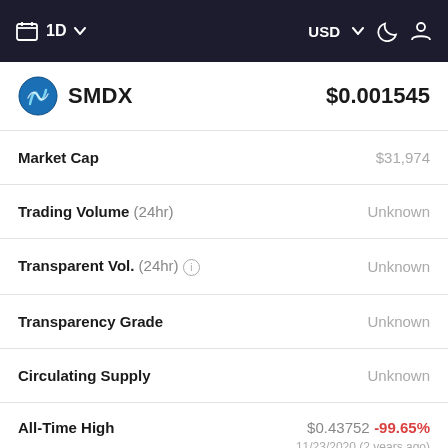1D  USD
SMDX  $0.001545
| Label | Value |
| --- | --- |
| Market Cap | $31,974 |
| Trading Volume (24hr) | Unknown |
| Transparent Vol. (24hr) | Unknown |
| Transparency Grade | Unknown |
| Circulating Supply | Unknown |
| All-Time High | $0.43752  -99.65%  11/23/2020 (2 years ago) |
| 7D Price Prediction | N/A |